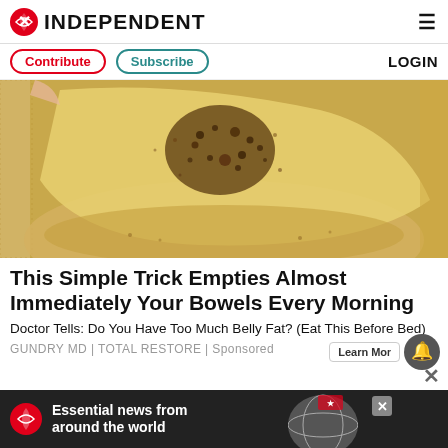INDEPENDENT
Contribute | Subscribe | LOGIN
[Figure (photo): Close-up photo of a hand holding a yellowish translucent material with dark speckles/granules on it, placed over a bowl with similar granular content. Background shows a textile or mesh surface.]
This Simple Trick Empties Almost Immediately Your Bowels Every Morning
Doctor Tells: Do You Have Too Much Belly Fat? (Eat This Before Bed)
GUNDRY MD | TOTAL RESTORE | Sponsored
[Figure (advertisement): Dark banner ad for The Independent: red eagle logo, text 'Essential news from around the world', globe graphic, close button]